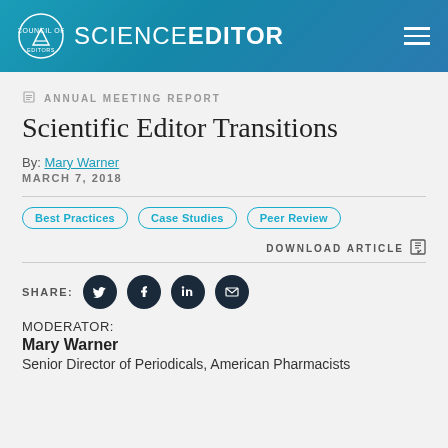SCIENCE EDITOR
ANNUAL MEETING REPORT
Scientific Editor Transitions
By: Mary Warner
MARCH 7, 2018
Best Practices
Case Studies
Peer Review
DOWNLOAD ARTICLE
SHARE:
MODERATOR:
Mary Warner
Senior Director of Periodicals, American Pharmacists